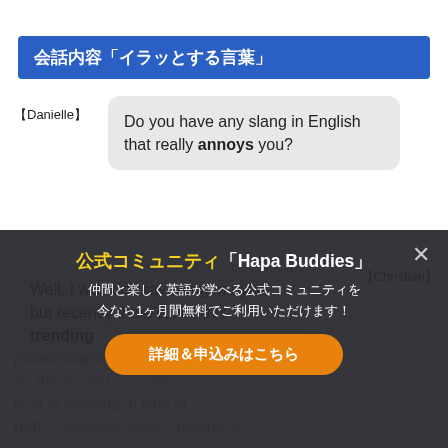会話内容「イラッとする言葉」
【Danielle】
Do you have any slang in English that really annoys you?
【Christian】
Well, I wouldn't say slang, maybe, but recently there's, like this trending phrase that's like, "for me it's the so-and-so." You kind of trending. It kind of both... basically what it means is
[Figure (screenshot): Overlay popup with dark background showing promotional banner for '公式コミュニティ「Hapa Buddies」' with close button, subtitle text '仲間と楽しく英語が学べる公式コミュニティを今なら1ヶ月間無料でご利用いただけます！', and an orange CTA button '詳細＆申込みはこちら']